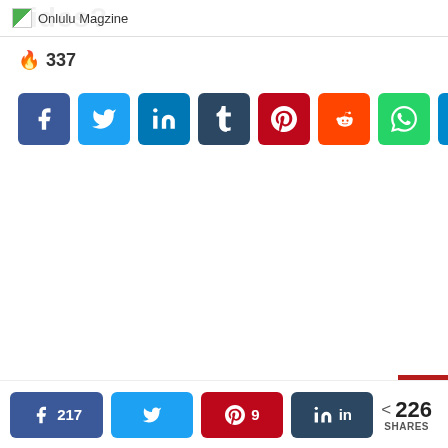Onlulu Magzine
🔥 337
[Figure (infographic): Row of 8 social media share buttons: Facebook (blue), Twitter (light blue), LinkedIn (dark blue), Tumblr (dark slate), Pinterest (red), Reddit (orange-red), WhatsApp (green), Telegram (blue)]
[Figure (infographic): Bottom share bar with Facebook 217, Twitter, Pinterest 9, LinkedIn buttons, and total 226 SHARES]